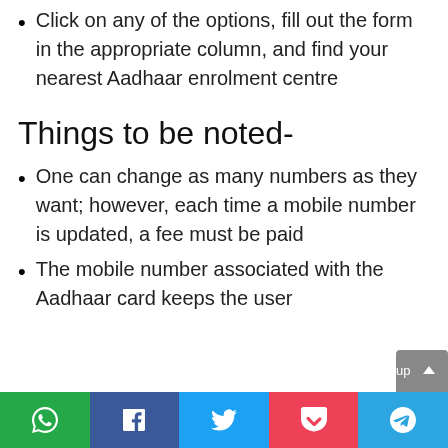Click on any of the options, fill out the form in the appropriate column, and find your nearest Aadhaar enrolment centre
Things to be noted-
One can change as many numbers as they want; however, each time a mobile number is updated, a fee must be paid
The mobile number associated with the Aadhaar card keeps the user up